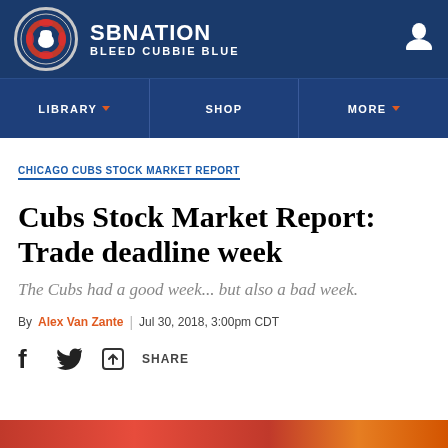SB NATION | BLEED CUBBIE BLUE
CHICAGO CUBS STOCK MARKET REPORT
Cubs Stock Market Report: Trade deadline week
The Cubs had a good week... but also a bad week.
By Alex Van Zante | Jul 30, 2018, 3:00pm CDT
SHARE